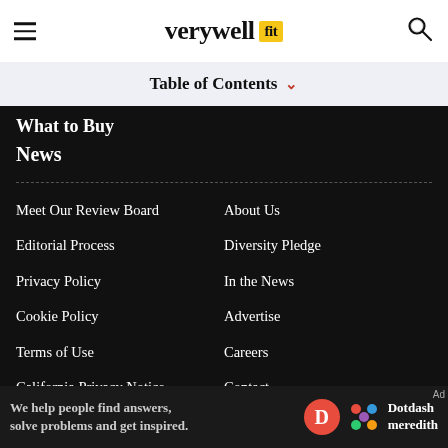verywell fit
Table of Contents
What to Buy
News
Meet Our Review Board
About Us
Editorial Process
Diversity Pledge
Privacy Policy
In the News
Cookie Policy
Advertise
Terms of Use
Careers
California Privacy Notice
Contact
Do Not Sell My Personal Information
We help people find answers, solve problems and get inspired. Dotdash meredith